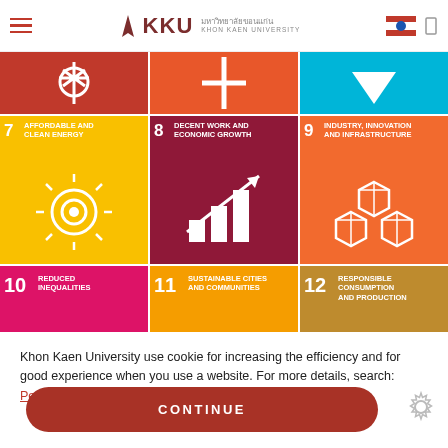KKU มหาวิทยาลัยขอนแก่น KHON KAEN UNIVERSITY
[Figure (infographic): UN Sustainable Development Goals tiles grid. Row 1 shows partial tops of SDG tiles (red, orange-red, cyan). Row 2 shows SDG 7 AFFORDABLE AND CLEAN ENERGY (yellow), SDG 8 DECENT WORK AND ECONOMIC GROWTH (dark maroon), SDG 9 INDUSTRY, INNOVATION AND INFRASTRUCTURE (orange). Row 3 shows partial SDG 10 REDUCED INEQUALITIES (magenta), SDG 11 SUSTAINABLE CITIES AND COMMUNITIES (amber), SDG 12 RESPONSIBLE CONSUMPTION AND PRODUCTION (dark gold/olive).]
Khon Kaen University use cookie for increasing the efficiency and for good experience when you use a website. For more details, search: Personal data protection policy
CONTINUE